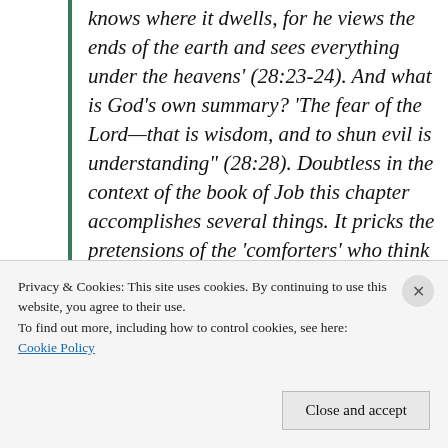knows where it dwells, for he views the ends of the earth and sees everything under the heavens' (28:23-24). And what is God's own summary? 'The fear of the Lord—that is wisdom, and to shun evil is understanding" (28:28). Doubtless in the context of the book of Job this chapter accomplishes several things. It pricks the pretensions of the 'comforters' who think themselves so wise.
Privacy & Cookies: This site uses cookies. By continuing to use this website, you agree to their use.
To find out more, including how to control cookies, see here: Cookie Policy
Close and accept